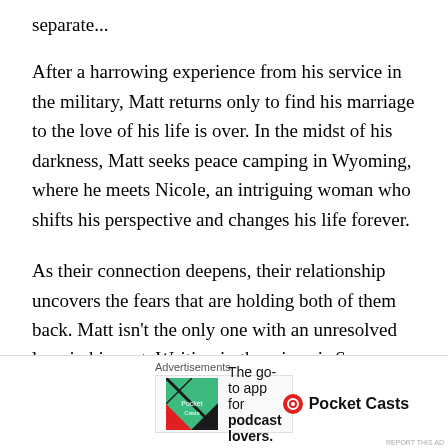separate...
After a harrowing experience from his service in the military, Matt returns only to find his marriage to the love of his life is over. In the midst of his darkness, Matt seeks peace camping in Wyoming, where he meets Nicole, an intriguing woman who shifts his perspective and changes his life forever.
As their connection deepens, their relationship uncovers the fears that are holding both of them back. Matt isn't the only one with an unresolved love in his past. Waiting in the wings is Sam, Nicole's business partner, and best friend. The pair have a history of mor
Advertisements
[Figure (screenshot): Advertisement banner for Pocket Casts app with logo and text 'The go-to app for podcast lovers.']